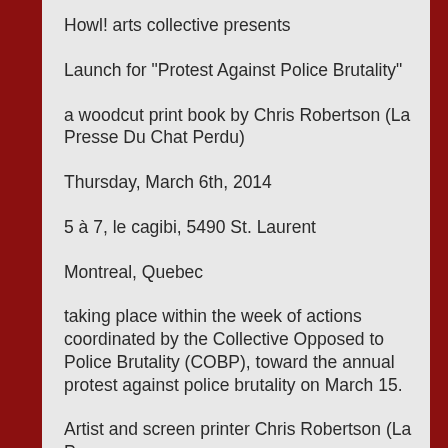Howl! arts collective presents
Launch for "Protest Against Police Brutality"
a woodcut print book by Chris Robertson (La Presse Du Chat Perdu)
Thursday, March 6th, 2014
5 à 7, le cagibi, 5490 St. Laurent
Montreal, Quebec
taking place within the week of actions coordinated by the Collective Opposed to Police Brutality (COBP), toward the annual protest against police brutality on March 15.
Artist and screen printer Chris Robertson (La Presse